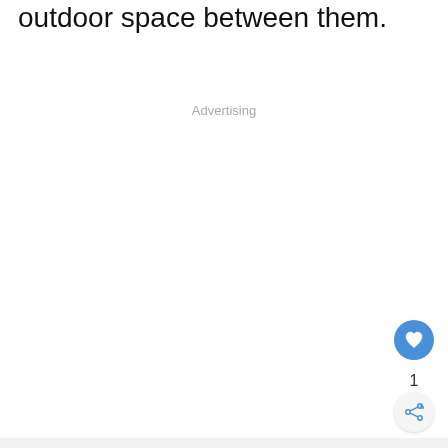outdoor space between them.
Advertising
[Figure (other): Like (heart) button, blue circle with white heart icon, count of 1 below, and share button (circle with share icon) below that, positioned at bottom-right corner.]